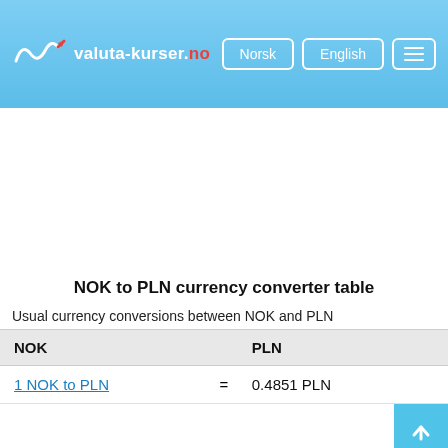valuta-kurser.no — Norsk / English navigation header
NOK to PLN currency converter table
Usual currency conversions between NOK and PLN
| NOK | PLN |
| --- | --- |
| 1 NOK to PLN | = | 0.4851 PLN |